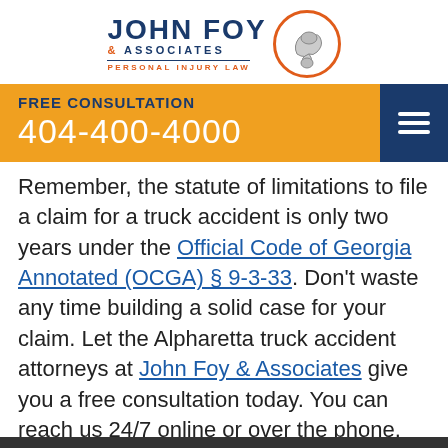[Figure (logo): John Foy & Associates Personal Injury Law logo with flexing arm in orange circle]
FREE CONSULTATION
404-400-4000
Remember, the statute of limitations to file a claim for a truck accident is only two years under the Official Code of Georgia Annotated (OCGA) § 9-3-33. Don't waste any time building a solid case for your claim. Let the Alpharetta truck accident attorneys at John Foy & Associates give you a free consultation today. You can reach us 24/7 online or over the phone.